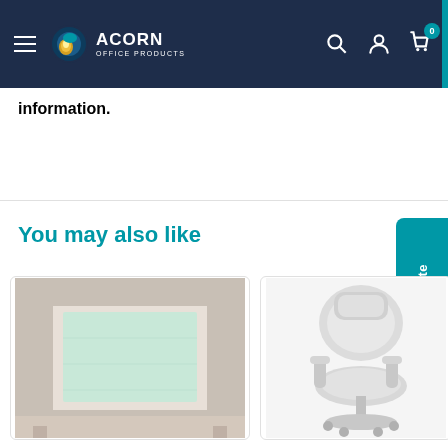Acorn Office Products — navigation bar
information.
You may also like
[Figure (photo): Product image of an office desk/cubicle setup with a light green panel insert, beige/gray frame]
[Figure (photo): Product image of a white/light gray executive office chair]